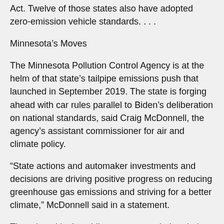Act. Twelve of those states also have adopted zero-emission vehicle standards. . . .
Minnesota’s Moves
The Minnesota Pollution Control Agency is at the helm of that state’s tailpipe emissions push that launched in September 2019. The state is forging ahead with car rules parallel to Biden’s deliberation on national standards, said Craig McDonnell, the agency’s assistant commissioner for air and climate policy.
“State actions and automaker investments and decisions are driving positive progress on reducing greenhouse gas emissions and striving for a better climate,” McDonnell said in a statement.
The rulemaking’s public comment period ended Monday, and now a state administrative law judge will issue a report in the coming weeks on whether the agency can